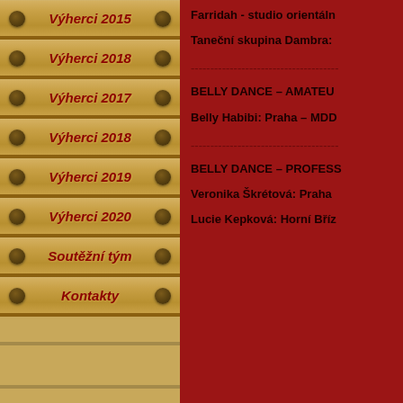Výherci 2015
Výherci 2018
Výherci 2017
Výherci 2018
Výherci 2019
Výherci 2020
Soutěžní tým
Kontakty
Farridah - studio orientáln
Taneční skupina Dambra:
------------------------------------
BELLY DANCE – AMATEU
Belly Habibi: Praha – MDD
------------------------------------
BELLY DANCE – PROFESS
Veronika Škrétová: Praha
Lucie Kepková: Horní Bříz